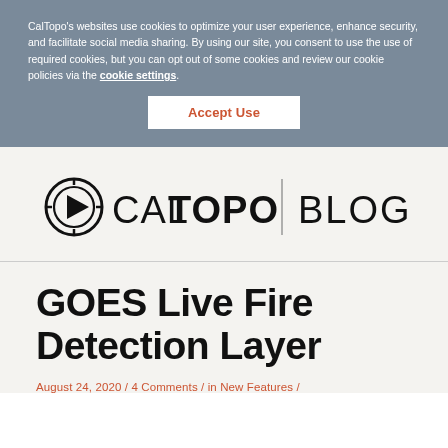CalTopo's websites use cookies to optimize your user experience, enhance security, and facilitate social media sharing. By using our site, you consent to use the use of required cookies, but you can opt out of some cookies and review our cookie policies via the cookie settings.
Accept Use
[Figure (logo): CalTopo Blog logo — circular compass icon followed by text 'CAL TOPO' with 'TOPO' bold, a vertical divider line, and 'BLOG' in large text]
GOES Live Fire Detection Layer
August 24, 2020 / 4 Comments / in New Features /